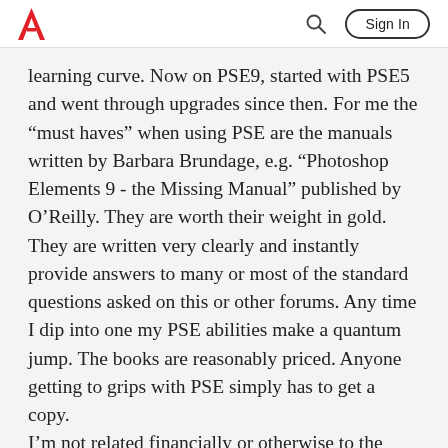Adobe | Sign In
learning curve. Now on PSE9, started with PSE5 and went through upgrades since then. For me the "must haves" when using PSE are the manuals written by Barbara Brundage, e.g. "Photoshop Elements 9 - the Missing Manual" published by O'Reilly. They are worth their weight in gold. They are written very clearly and instantly provide answers to many or most of the standard questions asked on this or other forums. Any time I dip into one my PSE abilities make a quantum jump. The books are reasonably priced. Anyone getting to grips with PSE simply has to get a copy. I'm not related financially or otherwise to the